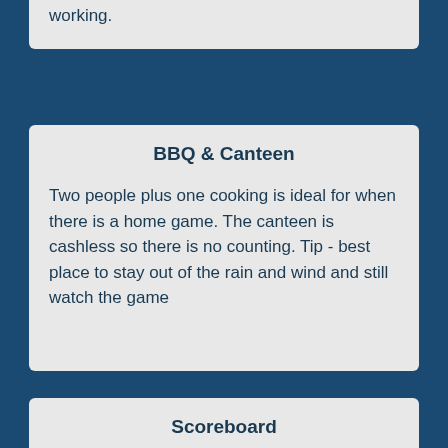working.
BBQ & Canteen
Two people plus one cooking is ideal for when there is a home game. The canteen is cashless so there is no counting. Tip - best place to stay out of the rain and wind and still watch the game
Scoreboard